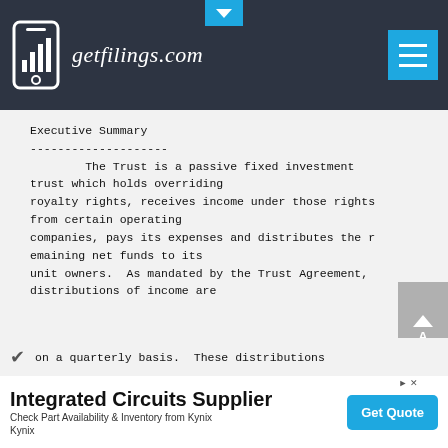getfilings.com
Executive Summary
The Trust is a passive fixed investment trust which holds overriding royalty rights, receives income under those rights from certain operating companies, pays its expenses and distributes the remaining net funds to its unit owners.  As mandated by the Trust Agreement, distributions of income are on a quarterly basis.  These distributions
Integrated Circuits Supplier
Check Part Availability & Inventory from Kynix
Kynix